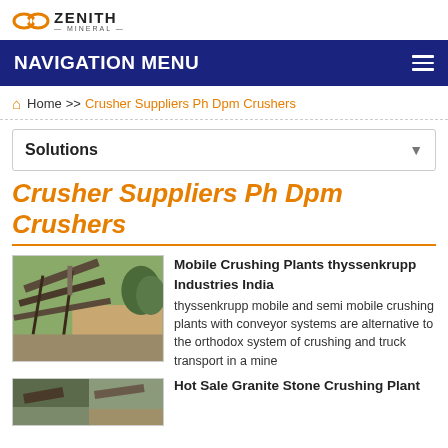[Figure (logo): Zenith Mineral logo with icon and text]
NAVIGATION MENU
Home >> Crusher Suppliers Ph Dpm Crushers
Solutions
Crusher Suppliers Ph Dpm Crushers
[Figure (photo): Mobile crushing plant with conveyor systems at a mine site]
Mobile Crushing Plants thyssenkrupp Industries India
thyssenkrupp mobile and semi mobile crushing plants with conveyor systems are alternative to the orthodox system of crushing and truck transport in a mine
[Figure (photo): Granite stone crushing plant]
Hot Sale Granite Stone Crushing Plant